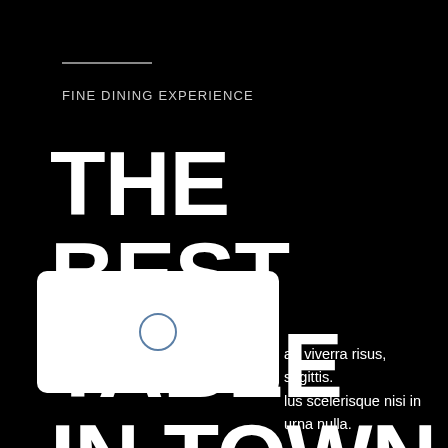FINE DINING EXPERIENCE
THE BEST TABLE IN TOWN
[Figure (illustration): White rounded rectangle card with a blue-outlined circle icon in the center, overlaid on the bottom-left of the page.]
ae viverra risus, sagittis. lus scelerisque nisi in urna nulla.